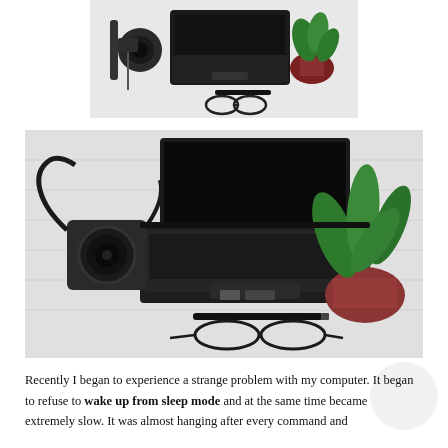[Figure (photo): Top-down flat lay photo of a laptop, camera with strap, pen, glasses, and a potted plant on a white surface — smaller, cropped version]
[Figure (photo): Top-down flat lay photo of an open laptop, camera with strap, pen, glasses, and a potted plant with large green leaves on a white wood surface — larger version]
Recently I began to experience a strange problem with my computer. It began to refuse to wake up from sleep mode and at the same time became extremely slow. It was almost hanging after every command and